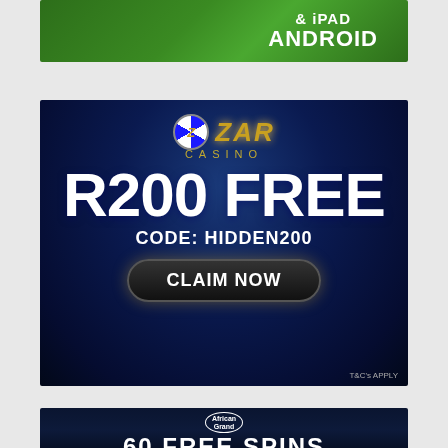[Figure (illustration): Partial green casino mobile app advertisement banner showing '& iPad' and 'ANDROID' text in white bold letters on green background with tablet device.]
[Figure (illustration): ZAR Casino advertisement with dark blue background. Shows ZAR Casino logo, 'R200 FREE', 'CODE: HIDDEN200', and a 'CLAIM NOW' button. Casino chips and playing cards visible. T&C's Apply text at bottom.]
[Figure (illustration): African Grand Casino advertisement showing the African Grand logo and '60 FREE SPINS' text on dark blue background.]